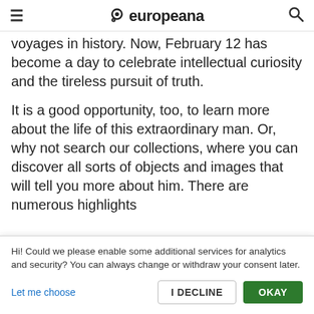≡  europeana  🔍
voyages in history. Now, February 12 has become a day to celebrate intellectual curiosity and the tireless pursuit of truth.
It is a good opportunity, too, to learn more about the life of this extraordinary man. Or, why not search our collections, where you can discover all sorts of objects and images that will tell you more about him. There are numerous highlights
Hi! Could we please enable some additional services for analytics and security? You can always change or withdraw your consent later.
Let me choose    I DECLINE    OKAY